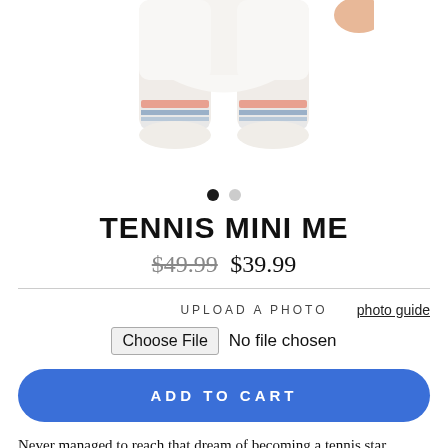[Figure (photo): Partial view of a doll or figurine in a tennis outfit — showing the lower body/legs with white shorts and striped socks, cropped at the top of the image]
TENNIS MINI ME
$49.99  $39.99
UPLOAD A PHOTO
photo guide
Choose File  No file chosen
ADD TO CART
Never managed to reach that dream of becoming a tennis star.